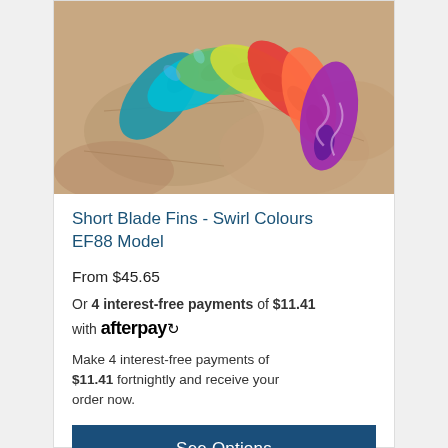[Figure (photo): Colorful short blade swim fins in swirl colours arranged in a fan shape on a stone surface. Multiple bright colours including blue, teal, green, yellow, red, orange, and purple/pink.]
Short Blade Fins - Swirl Colours EF88 Model
From $45.65
Or 4 interest-free payments of $11.41 with afterpay
Make 4 interest-free payments of $11.41 fortnightly and receive your order now.
See Options